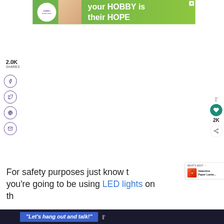[Figure (screenshot): Advertisement banner for Cookies for Kids Cancer: green background with text 'your HOBBY is their HOPE' and circular logo]
2.0K
SHARES
[Figure (screenshot): Social share sidebar with Facebook, Twitter, Pinterest, and Email circular icon buttons in purple outline]
[Figure (screenshot): Right-side widget showing heart/like button in teal, 2K count, and share button]
[Figure (screenshot): What's Next popup showing Valentine Paper Lante... with thumbnail]
For safety purposes just know that you're going to be using LED lights on th
[Figure (screenshot): Bottom dark bar with blue button reading "Let's hang out and talk!" and wave icon]